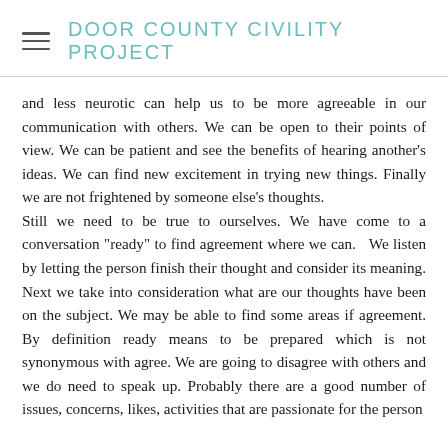DOOR COUNTY CIVILITY PROJECT
and less neurotic can help us to be more agreeable in our communication with others. We can be open to their points of view. We can be patient and see the benefits of hearing another’s ideas. We can find new excitement in trying new things. Finally we are not frightened by someone else’s thoughts.
Still we need to be true to ourselves. We have come to a conversation “ready” to find agreement where we can.   We listen by letting the person finish their thought and consider its meaning. Next we take into consideration what are our thoughts have been on the subject. We may be able to find some areas if agreement. By definition ready means to be prepared which is not synonymous with agree. We are going to disagree with others and we do need to speak up. Probably there are a good number of issues, concerns, likes, activities that are passionate for the person